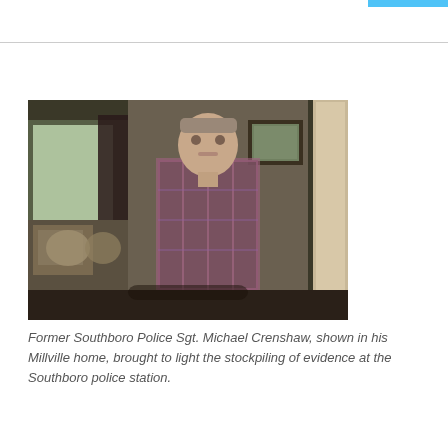[Figure (photo): A man standing in a home interior. He is wearing a plaid shirt and has short hair. Behind him is a living room with a sofa, cushions, curtains over a window, and a framed picture on the wall. The room has dim lighting with brownish-gray tones.]
Former Southboro Police Sgt. Michael Crenshaw, shown in his Millville home, brought to light the stockpiling of evidence at the Southboro police station.